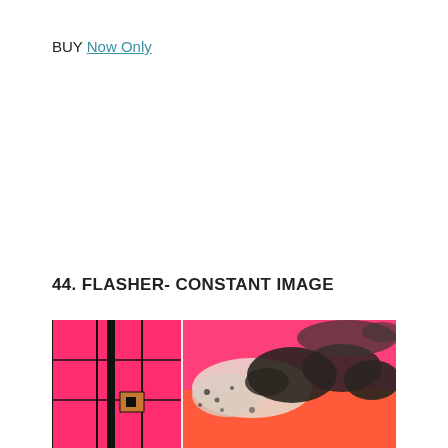BUY Now Only
44. FLASHER- CONSTANT IMAGE
[Figure (photo): Album artwork for Flasher - Constant Image. Abstract photo with vivid pink/magenta and orange tones. Left side shows a structural grid pattern with black lines and a small square element. Right side shows a rough, splattered textured surface with dark rock-like forms against the bright pink/orange background.]